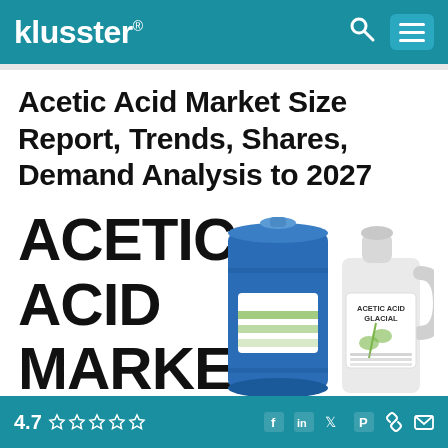klusster®
Acetic Acid Market Size Report, Trends, Shares, Demand Analysis to 2027
[Figure (illustration): Large bold text reading ACETIC ACID MARKET on the left side, with product images on the right: a large blue industrial drum/barrel with a white label with green stripes, and a white plastic gallon jug labeled ACETIC ACID GLACIAL]
4.7 ★★★★★  (social icons: Facebook, LinkedIn, Twitter, Pinterest, link, email)